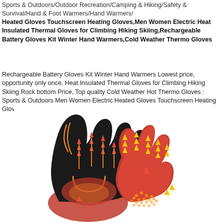Sports & Outdoors/Outdoor Recreation/Camping & Hiking/Safety & Survival/Hand & Foot Warmers/Hand Warmers/
Heated Gloves Touchscreen Heating Gloves,Men Women Electric Heat Insulated Thermal Gloves for Climbing Hiking Skiing,Rechargeable Battery Gloves Kit Winter Hand Warmers,Cold Weather Thermo Gloves
Rechargeable Battery Gloves Kit Winter Hand Warmers Lowest price, opportunity only once. Heat Insulated Thermal Gloves for Climbing Hiking Skiing Rock bottom Price, Top quality Cold Weather Hot Thermo Gloves : Sports & Outdoors Men Women Electric Heated Gloves Touchscreen Heating Gloves
[Figure (photo): Product image showing two heated gloves — one black with orange/yellow arrow heat indicators on the back, and one red with yellow arrows showing heat distribution, displayed palm-outward side by side on a white background.]